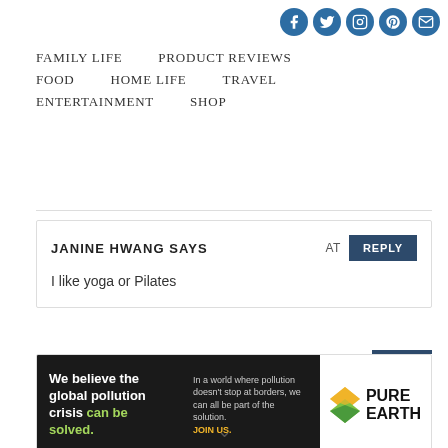[Figure (other): Social media icons: Facebook, Twitter, Instagram, Pinterest, Email — dark blue circular icons]
FAMILY LIFE   PRODUCT REVIEWS   FOOD   HOME LIFE   TRAVEL   ENTERTAINMENT   SHOP
JANINE HWANG SAYS   AT   REPLY
I like yoga or Pilates
[Figure (infographic): Pure Earth advertisement: 'We believe the global pollution crisis can be solved.' with green text highlight, tagline about world pollution and borders, JOIN US in yellow, Pure Earth logo with diamond icon on white right panel]